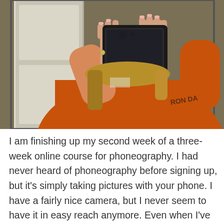[Figure (photo): Person in an orange long-sleeve shirt taking a mirror selfie with a black smartphone, face obscured by the phone. Background shows a white door and tan wall.]
I am finishing up my second week of a three-week online course for phoneography. I had never heard of phoneography before signing up, but it's simply taking pictures with your phone. I have a fairly nice camera, but I never seem to have it in easy reach anymore. Even when I've got it in my purse, it's too cumbersome to pull it out,